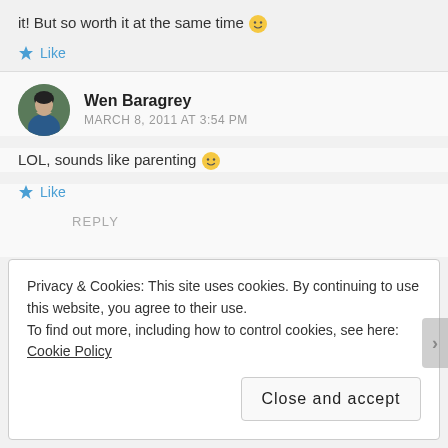it! But so worth it at the same time 🙂
★ Like
Wen Baragrey
MARCH 8, 2011 AT 3:54 PM
LOL, sounds like parenting 🙂
★ Like
REPLY
Privacy & Cookies: This site uses cookies. By continuing to use this website, you agree to their use.
To find out more, including how to control cookies, see here: Cookie Policy
Close and accept